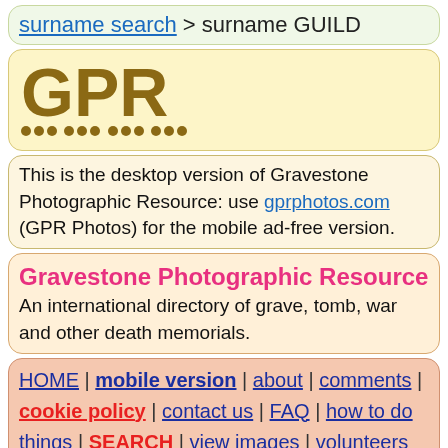surname search > surname GUILD
[Figure (logo): GPR logo with gold bold letters and dotted underline on pale yellow background]
This is the desktop version of Gravestone Photographic Resource: use gprphotos.com (GPR Photos) for the mobile ad-free version.
Gravestone Photographic Resource
An international directory of grave, tomb, war and other death memorials.
HOME | mobile version | about | comments | cookie policy | contact us | FAQ | how to do things | SEARCH | view images | volunteers